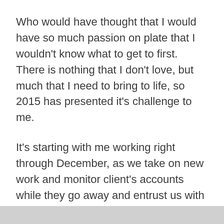Who would have thought that I would have so much passion on plate that I wouldn't know what to get to first. There is nothing that I don't love, but much that I need to bring to life, so 2015 has presented it's challenge to me.
It's starting with me working right through December, as we take on new work and monitor client's accounts while they go away and entrust us with the online presence. That's an interesting time to practice some integration, because I do plan to hold a glass of bubbles, sitting by the pool, while working and daydreaming at the same time.